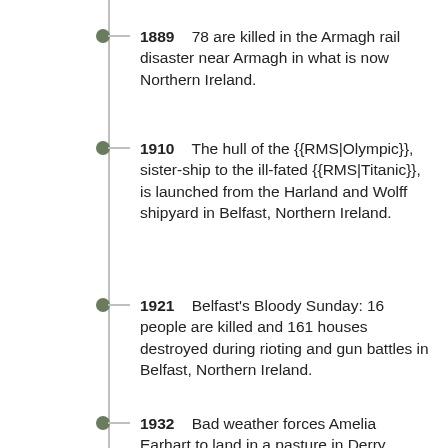1889  78 are killed in the Armagh rail disaster near Armagh in what is now Northern Ireland.
1910  The hull of the {{RMS|Olympic}}, sister-ship to the ill-fated {{RMS|Titanic}}, is launched from the Harland and Wolff shipyard in Belfast, Northern Ireland.
1921  Belfast's Bloody Sunday: 16 people are killed and 161 houses destroyed during rioting and gun battles in Belfast, Northern Ireland.
1932  Bad weather forces Amelia Earhart to land in a pasture in Derry, Northern Ireland, and she thereby becomes the first woman to fly solo across the Atlantic Ocean.